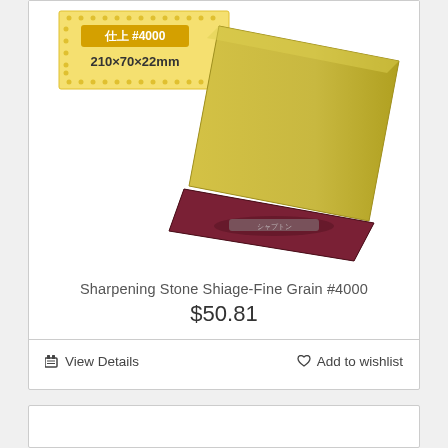[Figure (photo): Product photo of a sharpening stone (Shiage-Fine Grain #4000) - a rectangular yellow/gold stone sitting on a dark maroon/burgundy base/holder. The stone packaging label in the top-left shows Japanese text 仕上 #4000 and dimensions 210×70×22mm.]
Sharpening Stone Shiage-Fine Grain #4000
$50.81
View Details
Add to wishlist